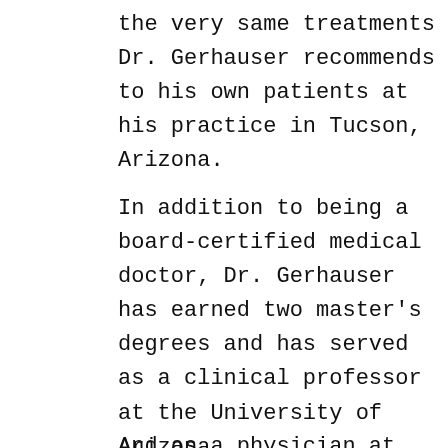the very same treatments Dr. Gerhauser recommends to his own patients at his practice in Tucson, Arizona.
In addition to being a board-certified medical doctor, Dr. Gerhauser has earned two master's degrees and has served as a clinical professor at the University of Arizona.
And as a physician at the world-famous Canyon Ranch, Dr. Gerhauser treated celebrities from around the world who paid dearly for the type of next-generation health information he provides Natural Health Response readers each month